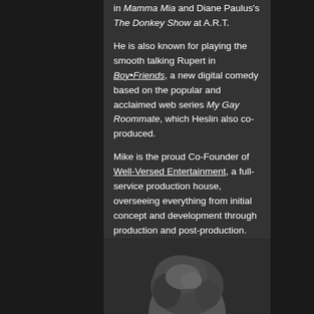in Mamma Mia and Diane Paulus's The Donkey Show at A.R.T.
He is also known for playing the smooth talking Rupert in Boy•Friends, a new digital comedy based on the popular and acclaimed web series My Gay Roommate, which Heslin also co-produced.
Mike is the proud Co-Founder of Well-Versed Entertainment, a full-service production house, overseeing everything from initial concept and development through production and post-production.
[Figure (photo): Black and white headshot photo of a person, cropped at the top showing the upper portion of the head with hair visible]